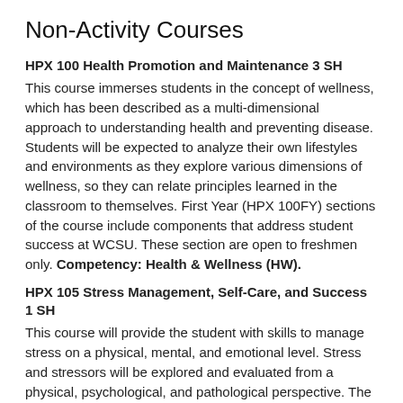Non-Activity Courses
HPX 100 Health Promotion and Maintenance 3 SH
This course immerses students in the concept of wellness, which has been described as a multi-dimensional approach to understanding health and preventing disease. Students will be expected to analyze their own lifestyles and environments as they explore various dimensions of wellness, so they can relate principles learned in the classroom to themselves. First Year (HPX 100FY) sections of the course include components that address student success at WCSU. These section are open to freshmen only. Competency: Health & Wellness (HW).
HPX 105 Stress Management, Self-Care, and Success 1 SH
This course will provide the student with skills to manage stress on a physical, mental, and emotional level. Stress and stressors will be explored and evaluated from a physical, psychological, and pathological perspective. The cause, effect, and management of physiological stress response will be examined, and positive stress management skills will be explored, analyzed and practiced. This course has a large